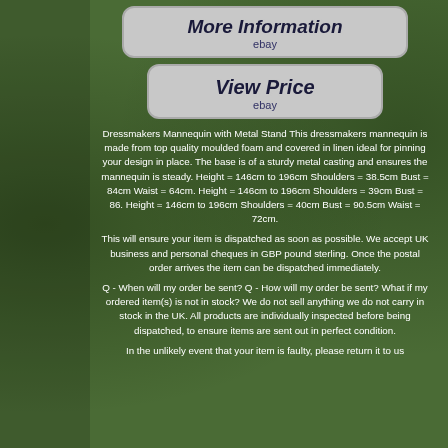[Figure (screenshot): Button styled link reading 'More Information' with 'ebay' subtitle, rounded rectangle on grey background]
[Figure (screenshot): Button styled link reading 'View Price' with 'ebay' subtitle, rounded rectangle on grey background]
Dressmakers Mannequin with Metal Stand This dressmakers mannequin is made from top quality moulded foam and covered in linen ideal for pinning your design in place. The base is of a sturdy metal casting and ensures the mannequin is steady. Height = 146cm to 196cm Shoulders = 38.5cm Bust = 84cm Waist = 64cm. Height = 146cm to 196cm Shoulders = 39cm Bust = 86. Height = 146cm to 196cm Shoulders = 40cm Bust = 90.5cm Waist = 72cm.
This will ensure your item is dispatched as soon as possible. We accept UK business and personal cheques in GBP pound sterling. Once the postal order arrives the item can be dispatched immediately.
Q - When will my order be sent? Q - How will my order be sent? What if my ordered item(s) is not in stock? We do not sell anything we do not carry in stock in the UK. All products are individually inspected before being dispatched, to ensure items are sent out in perfect condition.
In the unlikely event that your item is faulty, please return it to us